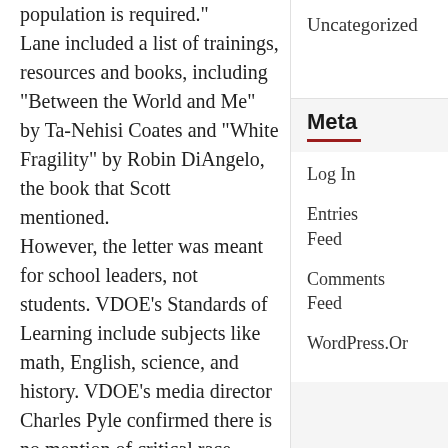population is required." Lane included a list of trainings, resources and books, including "Between the World and Me" by Ta-Nehisi Coates and "White Fragility" by Robin DiAngelo, the book that Scott mentioned. However, the letter was meant for school leaders, not students. VDOE's Standards of Learning include subjects like math, English, science, and history. VDOE's media director Charles Pyle confirmed there is no mention of critical race
Uncategorized
Meta
Log In
Entries Feed
Comments Feed
WordPress.Or